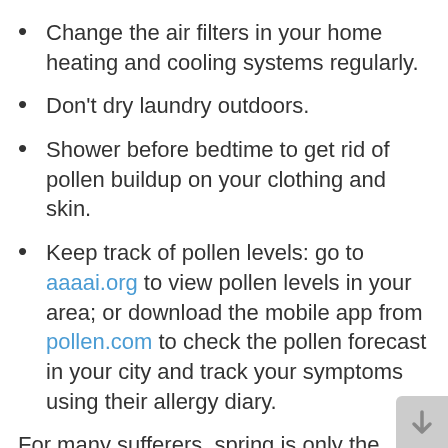Change the air filters in your home heating and cooling systems regularly.
Don't dry laundry outdoors.
Shower before bedtime to get rid of pollen buildup on your clothing and skin.
Keep track of pollen levels: go to aaaai.org to view pollen levels in your area; or download the mobile app from pollen.com to check the pollen forecast in your city and track your symptoms using their allergy diary.
For many sufferers, spring is only the beginning: different types of pollens all the way through summer and fall can trigger hay fever